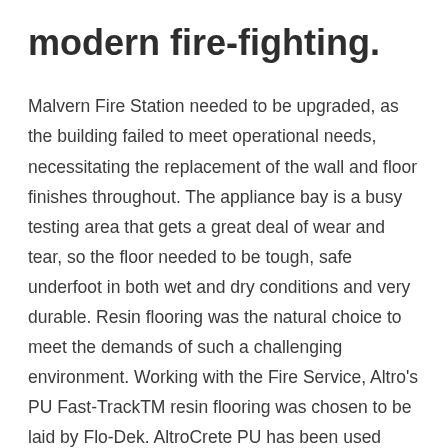modern fire-fighting.
Malvern Fire Station needed to be upgraded, as the building failed to meet operational needs, necessitating the replacement of the wall and floor finishes throughout. The appliance bay is a busy testing area that gets a great deal of wear and tear, so the floor needed to be tough, safe underfoot in both wet and dry conditions and very durable. Resin flooring was the natural choice to meet the demands of such a challenging environment. Working with the Fire Service, Altro's PU Fast-TrackTM resin flooring was chosen to be laid by Flo-Dek. AltroCrete PU has been used before in the Hereford & Worcester Fire Stations and it has proven very successful for this environment. It has the added